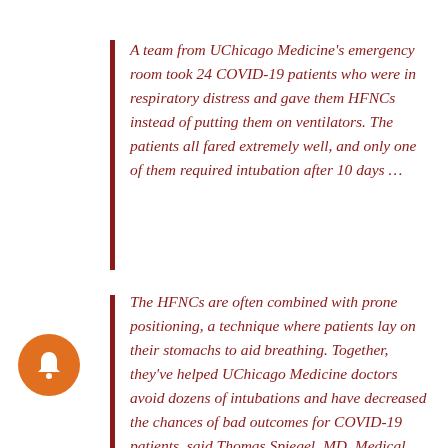A team from UChicago Medicine's emergency room took 24 COVID-19 patients who were in respiratory distress and gave them HFNCs instead of putting them on ventilators. The patients all fared extremely well, and only one of them required intubation after 10 days …
The HFNCs are often combined with prone positioning, a technique where patients lay on their stomachs to aid breathing. Together, they've helped UChicago Medicine doctors avoid dozens of intubations and have decreased the chances of bad outcomes for COVID-19 patients, said Thomas Spiegel, MD, Medical Director of University of Chicago